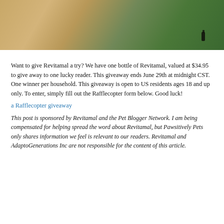[Figure (photo): Two-panel photo collage. Left panel: dark bottle on wooden surface with #AntiAgingPets text overlay in white italic. Right panel: a dog outdoors near green plants with a small dark dropper bottle visible.]
Want to give Revitamal a try? We have one bottle of Revitamal, valued at $34.95 to give away to one lucky reader. This giveaway ends June 29th at midnight CST. One winner per household. This giveaway is open to US residents ages 18 and up only. To enter, simply fill out the Rafflecopter form below. Good luck!
a Rafflecopter giveaway
This post is sponsored by Revitamal and the Pet Blogger Network. I am being compensated for helping spread the word about Revitamal, but Pawsitively Pets only shares information we feel is relevant to our readers. Revitamal and AdaptoGenerations Inc are not responsible for the content of this article.